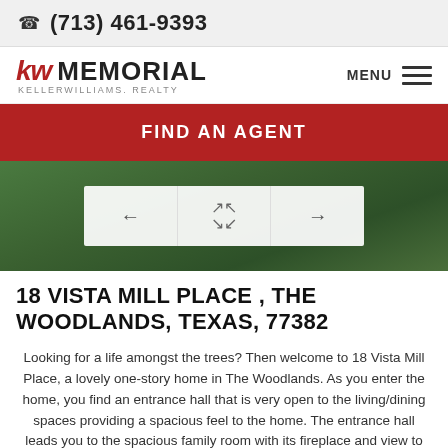(713) 461-9393
[Figure (logo): Keller Williams Memorial Realty logo with red KW mark and MEMORIAL text]
FIND AN AGENT
[Figure (photo): Green grass/lawn area with image navigation controls showing left arrow, expand icon, and right arrow]
18 VISTA MILL PLACE , THE WOODLANDS, TEXAS, 77382
Looking for a life amongst the trees? Then welcome to 18 Vista Mill Place, a lovely one-story home in The Woodlands. As you enter the home, you find an entrance hall that is very open to the living/dining spaces providing a spacious feel to the home. The entrance hall leads you to the spacious family room with its fireplace and view to the back yard. The adjacent kitchen provides an excellent work triangle